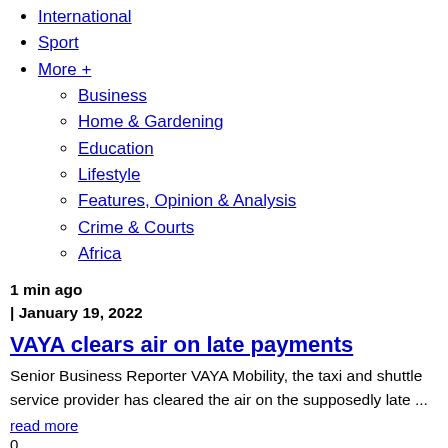International
Sport
More +
Business
Home & Gardening
Education
Lifestyle
Features, Opinion & Analysis
Crime & Courts
Africa
1 min ago
| January 19, 2022
VAYA clears air on late payments
Senior Business Reporter VAYA Mobility, the taxi and shuttle service provider has cleared the air on the supposedly late ...
read more
0
0
Business